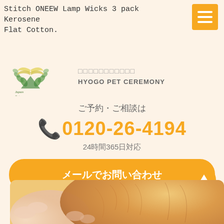Stitch ONEEW Lamp Wicks 3 pack Kerosene Flat Cotton.
[Figure (logo): Japan Pet Ceremony logo with angel wings and laurel wreath]
HYOGO PET CEREMONY
ご予約・ご相談は
0120-26-4194
24時間365日対応
メールでお問い合わせ
[Figure (photo): Photo of a cute orange/golden puppy or kitten being held by human hands]